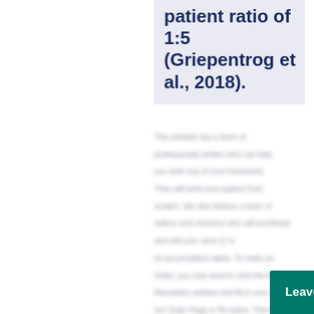patient ratio of 1:5 (Griepentrog et al., 2018).
[blurred body text content — partially visible, redacted/blurred in original]
[Figure (screenshot): Live chat widget button at the bottom of the page with teal background, reading 'Leave a message' with a chat bubble icon]